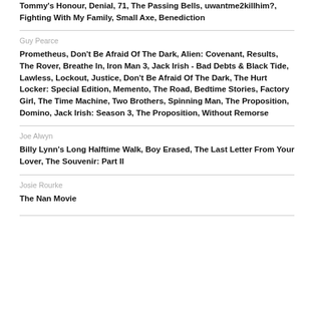Tommy's Honour, Denial, 71, The Passing Bells, uwantme2killhim?, Fighting With My Family, Small Axe, Benediction
Guy Pearce
Prometheus, Don't Be Afraid Of The Dark, Alien: Covenant, Results, The Rover, Breathe In, Iron Man 3, Jack Irish - Bad Debts & Black Tide, Lawless, Lockout, Justice, Don't Be Afraid Of The Dark, The Hurt Locker: Special Edition, Memento, The Road, Bedtime Stories, Factory Girl, The Time Machine, Two Brothers, Spinning Man, The Proposition, Domino, Jack Irish: Season 3, The Proposition, Without Remorse
Joe Alwyn
Billy Lynn's Long Halftime Walk, Boy Erased, The Last Letter From Your Lover, The Souvenir: Part II
Josie Rourke
The Nan Movie